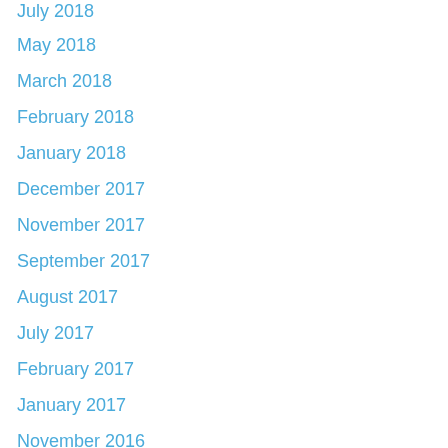July 2018
May 2018
March 2018
February 2018
January 2018
December 2017
November 2017
September 2017
August 2017
July 2017
February 2017
January 2017
November 2016
October 2016
September 2016
August 2016
July 2016
May 2016
April 2016
March 2016